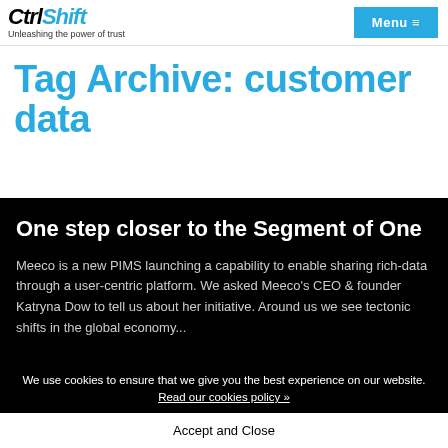CtrlShift — Unleashing the power of trust | Menu
Tag Archive: customer data
One step closer to the Segment of One
Meeco is a new PIMS launching a capability to enable sharing rich-data through a user-centric platform. We asked Meeco's CEO & founder Katryna Dow to tell us about her initiative. Around us we see tectonic shifts in the global economy...
We use cookies to ensure that we give you the best experience on our website. Read our cookies policy » Accept and Close